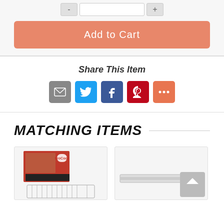[Figure (screenshot): Add to Cart button (salmon/orange color) with quantity selector above it]
Share This Item
[Figure (infographic): Social sharing icons: Email (gray), Twitter (blue), Facebook (dark blue), Pinterest (red), More (orange)]
MATCHING ITEMS
[Figure (photo): Product thumbnail showing a red/black box with food image and a wireframe tray outline below]
[Figure (photo): Product thumbnail showing a white/silver cooking rack or grill accessory]